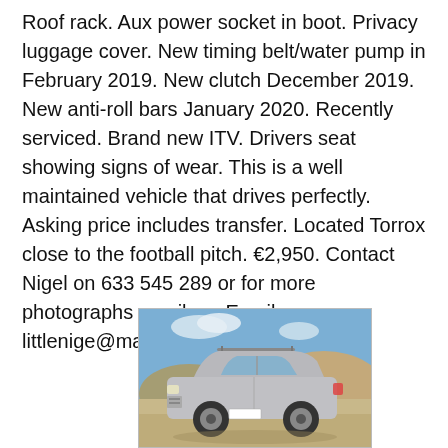Roof rack. Aux power socket in boot. Privacy luggage cover. New timing belt/water pump in February 2019. New clutch December 2019. New anti-roll bars January 2020. Recently serviced. Brand new ITV. Drivers seat showing signs of wear. This is a well maintained vehicle that drives perfectly. Asking price includes transfer. Located Torrox close to the football pitch. €2,950. Contact Nigel on 633 545 289 or for more photographs email me Email: littlenige@mail.com
[Figure (photo): Silver SUV (Hyundai Santa Fe) parked outdoors on a dirt/sandy surface with rocky hills in the background under a blue sky with some clouds. The vehicle has a roof rack visible.]